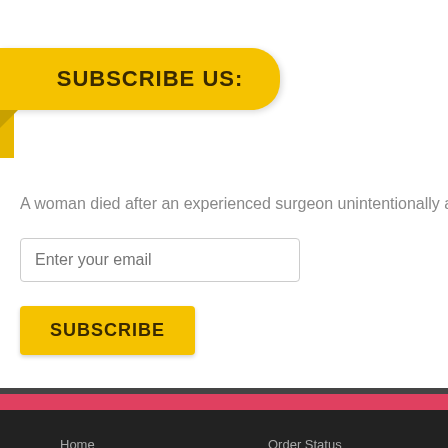SUBSCRIBE US:
A woman died after an experienced surgeon unintentionally attempted to ta
Enter your email
SUBSCRIBE
QUICK LINKS:
Home
Order Status